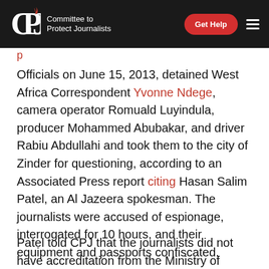CPJ — Committee to Protect Journalists | Get Help
Officials on June 15, 2013, detained West Africa Correspondent Yvonne Ndege, camera operator Romuald Luyindula, producer Mohammed Abubakar, and driver Rabiu Abdullahi and took them to the city of Zinder for questioning, according to an Associated Press report citing Hasan Salim Patel, an Al Jazeera spokesman. The journalists were accused of espionage, interrogated for 10 hours, and their equipment and passports confiscated.
Patel told CPJ that the journalists did not have accreditation from the Ministry of Communications